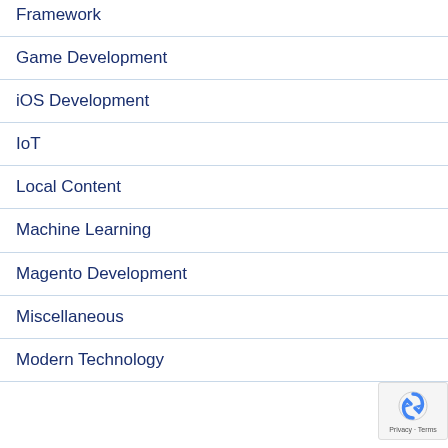Framework
Game Development
iOS Development
IoT
Local Content
Machine Learning
Magento Development
Miscellaneous
Modern Technology